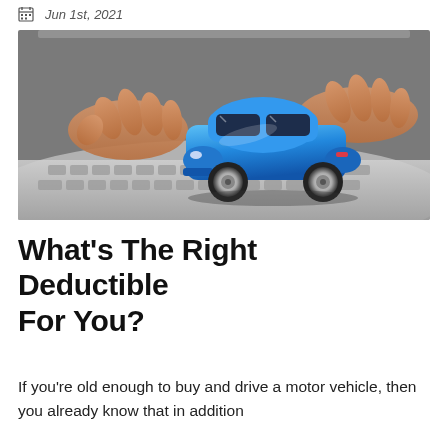Jun 1st, 2021
[Figure (photo): A small blue toy car sitting on a laptop keyboard, with human hands typing in the background. Close-up shot with shallow depth of field.]
What's The Right Deductible For You?
If you're old enough to buy and drive a motor vehicle, then you already know that in addition